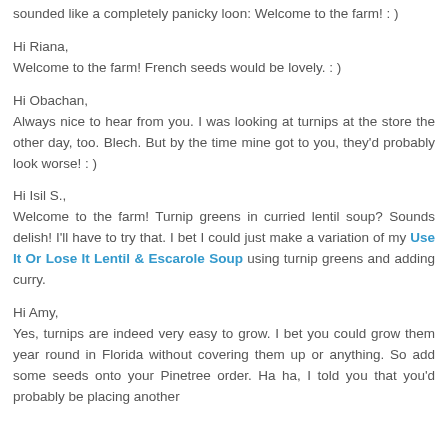sounded like a completely panicky loon: Welcome to the farm! : )
Hi Riana,
Welcome to the farm! French seeds would be lovely. : )
Hi Obachan,
Always nice to hear from you. I was looking at turnips at the store the other day, too. Blech. But by the time mine got to you, they'd probably look worse! : )
Hi Isil S.,
Welcome to the farm! Turnip greens in curried lentil soup? Sounds delish! I'll have to try that. I bet I could just make a variation of my Use It Or Lose It Lentil & Escarole Soup using turnip greens and adding curry.
Hi Amy,
Yes, turnips are indeed very easy to grow. I bet you could grow them year round in Florida without covering them up or anything. So add some seeds onto your Pinetree order. Ha ha, I told you that you'd probably be placing another